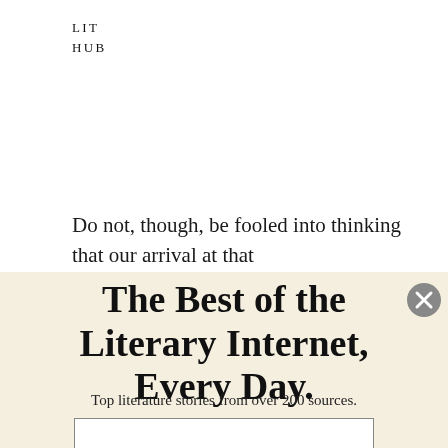LIT
HUB
Do not, though, be fooled into thinking that our arrival at that
The Best of the Literary Internet, Every Day.
Top literature stories from over 200 sources.